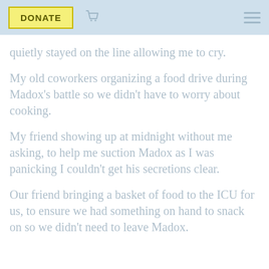DONATE
quietly stayed on the line allowing me to cry.
My old coworkers organizing a food drive during Madox's battle so we didn't have to worry about cooking.
My friend showing up at midnight without me asking, to help me suction Madox as I was panicking I couldn't get his secretions clear.
Our friend bringing a basket of food to the ICU for us, to ensure we had something on hand to snack on so we didn't need to leave Madox.